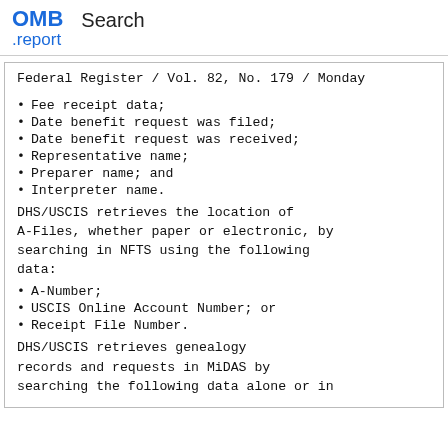OMB .report   Search
Federal Register / Vol. 82, No. 179 / Monday
Fee receipt data;
Date benefit request was filed;
Date benefit request was received;
Representative name;
Preparer name; and
Interpreter name.
DHS/USCIS retrieves the location of A-Files, whether paper or electronic, by searching in NFTS using the following data:
A-Number;
USCIS Online Account Number; or
Receipt File Number.
DHS/USCIS retrieves genealogy records and requests in MiDAS by searching the following data alone or in